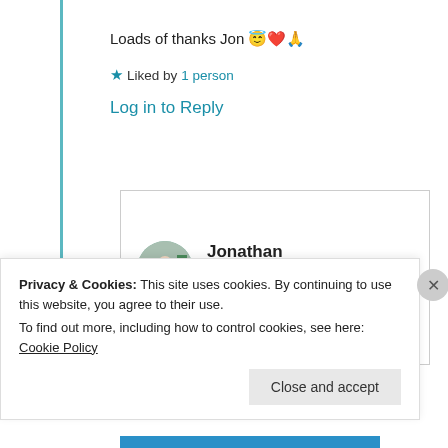Loads of thanks Jon 😇❤️🙏
★ Liked by 1 person
Log in to Reply
Jonathan Caswell
11th Jun 2021 at 11:30 am
Privacy & Cookies: This site uses cookies. By continuing to use this website, you agree to their use.
To find out more, including how to control cookies, see here: Cookie Policy
Close and accept